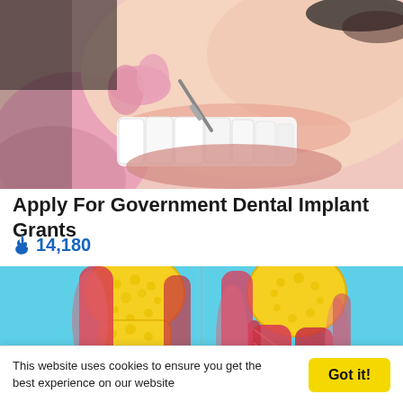[Figure (photo): Close-up photo of a woman smiling showing white teeth, with a dental professional's gloved hand using a dental tool near her teeth]
Apply For Government Dental Implant Grants
🔥 14,180
[Figure (illustration): Medical illustration on cyan background showing two side-by-side anatomical cross-sections of a joint - left showing fatty/yellow tissue around a joint, right showing muscular/red tissue around a joint]
This website uses cookies to ensure you get the best experience on our website
Got it!